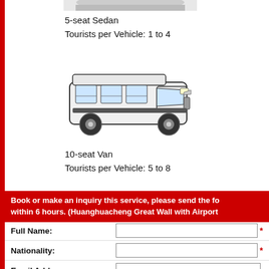[Figure (photo): Partial top view of a 5-seat sedan car (cropped at top of page)]
5-seat Sedan
Tourists per Vehicle: 1 to 4
[Figure (photo): White 10-seat van (minivan) illustration in black and white]
10-seat Van
Tourists per Vehicle: 5 to 8
Book or make an inquiry this service, please send the fo within 6 hours. (Huanghuacheng Great Wall with Airport
Full Name:
Nationality:
Email Address:
Alternative Email Address: